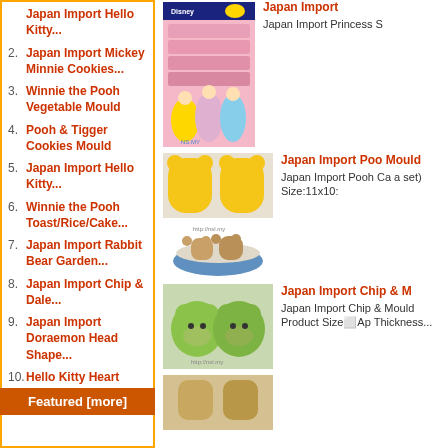1. Japan Import Hello Kitty...
2. Japan Import Mickey Minnie Cookies...
3. Winnie the Pooh Vegetable Mould
4. Pooh & Tigger Cookies Mould
5. Japan Import Hello Kitty...
6. Winnie the Pooh Toast/Rice/Cake...
7. Japan Import Rabbit Bear Garden...
8. Japan Import Chip & Dale...
9. Japan Import Doraemon Head Shape...
10. Hello Kitty Heart Shape...
Featured  [more]
[Figure (photo): Disney Princess cookie/biscuit bag set - pink packaging with Snow White, Ariel, Cinderella]
Japan Import
Japan  Import Princess S
[Figure (photo): Japan Import Pooh Cookies Mould - yellow bear-shaped moulds and bowl with bear-shaped cookies]
Japan Import Poo Mould
Japan Import Pooh Ca a set) Size:11x10:
[Figure (photo): Japan Import Chip & Dale - green chipmunk shaped moulds]
Japan Import Chip & M
Japan Import Chip & Mould Product Size Ap Thickness...
[Figure (photo): Bottom partial image of cookie/mould product]